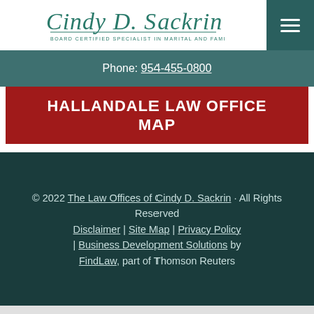[Figure (logo): Cindy D. Sackrin – Board Certified Specialist in Marital and Family Law logo in teal cursive script]
Phone: 954-455-0800
HALLANDALE LAW OFFICE MAP
© 2022 The Law Offices of Cindy D. Sackrin · All Rights Reserved Disclaimer | Site Map | Privacy Policy | Business Development Solutions by FindLaw, part of Thomson Reuters